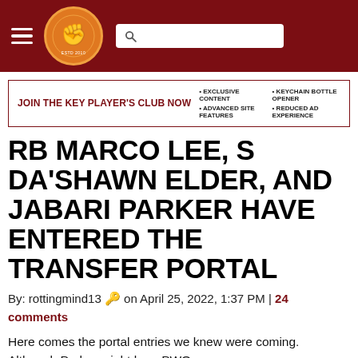The Key Play — navigation header with logo and search
JOIN THE KEY PLAYER'S CLUB NOW • EXCLUSIVE CONTENT • ADVANCED SITE FEATURES • KEYCHAIN BOTTLE OPENER • REDUCED AD EXPERIENCE
RB MARCO LEE, S DA'SHAWN ELDER, AND JABARI PARKER HAVE ENTERED THE TRANSFER PORTAL
By: rottingmind13 🔑 on April 25, 2022, 1:37 PM | 24 comments
Here comes the portal entries we knew were coming. Although Parker might be a PWO